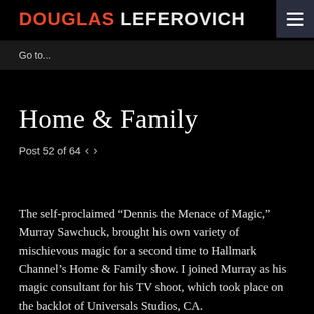DOUGLAS LEFEROVICH
Go to...
Home & Family
Post 52 of 64  < >
The self-proclaimed “Dennis the Menace of Magic,” Murray Sawchuck, brought his own variety of mischievous magic for a second time to Hallmark Channel’s Home & Family show. I joined Murray as his magic consultant for his TV shoot, which took place on the backlot of Universals Studios, CA.